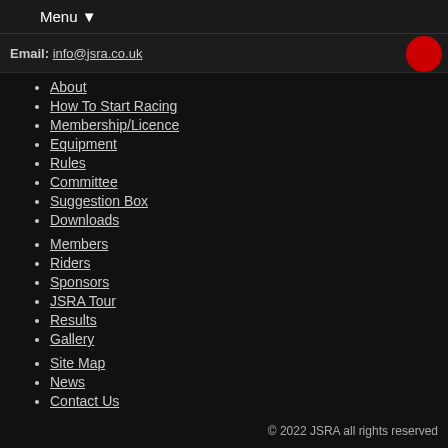Menu ▼
Email: info@jsra.co.uk
About
How To Start Racing
Membership/Licence
Equipment
Rules
Committee
Suggestion Box
Downloads
Members
Riders
Sponsors
JSRA Tour
Results
Gallery
Site Map
News
Contact Us
© 2022 JSRA all rights reserved